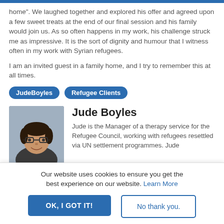home". We laughed together and explored his offer and agreed upon a few sweet treats at the end of our final session and his family would join us. As so often happens in my work, his challenge struck me as impressive. It is the sort of dignity and humour that I witness often in my work with Syrian refugees.
I am an invited guest in a family home, and I try to remember this at all times.
JudeBoyles
Refugee Clients
Jude Boyles
Jude is the Manager of a therapy service for the Refugee Council, working with refugees resettled via UN settlement programmes. Jude
Our website uses cookies to ensure you get the best experience on our website. Learn More
OK, I GOT IT!
No thank you.